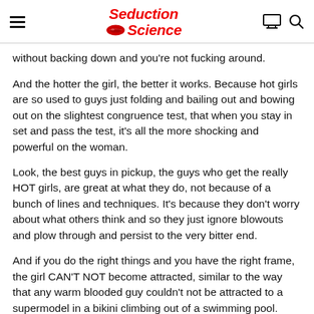Seduction Science
without backing down and you’re not fucking around.
And the hotter the girl, the better it works. Because hot girls are so used to guys just folding and bailing out and bowing out on the slightest congruence test, that when you stay in set and pass the test, it’s all the more shocking and powerful on the woman.
Look, the best guys in pickup, the guys who get the really HOT girls, are great at what they do, not because of a bunch of lines and techniques. It’s because they don’t worry about what others think and so they just ignore blowouts and plow through and persist to the very bitter end.
And if you do the right things and you have the right frame, the girl CAN’T NOT become attracted, similar to the way that any warm blooded guy couldn’t not be attracted to a supermodel in a bikini climbing out of a swimming pool.
And staying in set and beating congruence tests is the ONLY